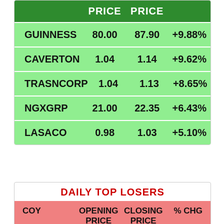| COY | OPENING PRICE | CLOSING PRICE | % CHG |
| --- | --- | --- | --- |
| GUINNESS | 80.00 | 87.90 | +9.88% |
| CAVERTON | 1.04 | 1.14 | +9.62% |
| TRASNCORP | 1.04 | 1.13 | +8.65% |
| NGXGRP | 21.00 | 22.35 | +6.43% |
| LASACO | 0.98 | 1.03 | +5.10% |
DAILY TOP LOSERS
| COY | OPENING PRICE | CLOSING PRICE | % CHG |
| --- | --- | --- | --- |